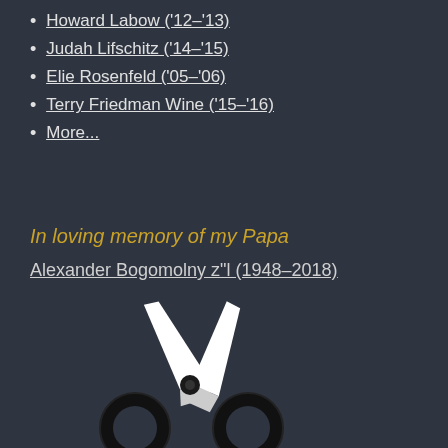Howard Labow ('12–'13)
Judah Lifschitz ('14–'15)
Elie Rosenfeld ('05–'06)
Terry Friedman Wine ('15–'16)
More...
In loving memory of my Papa
Alexander Bogomolny z"l (1948–2018)
[Figure (illustration): Scissors icon in black and white — open scissors with circular handles at the bottom, shown from above on a dark background]